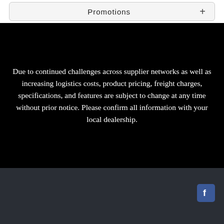Promotions +
Due to continued challenges across supplier networks as well as increasing logistics costs, product pricing, freight charges, specifications, and features are subject to change at any time without prior notice. Please confirm all information with your local dealership.
DX1® Privacy Statement | Terms Of Use | Accessibility Statement | CCPA Privacy